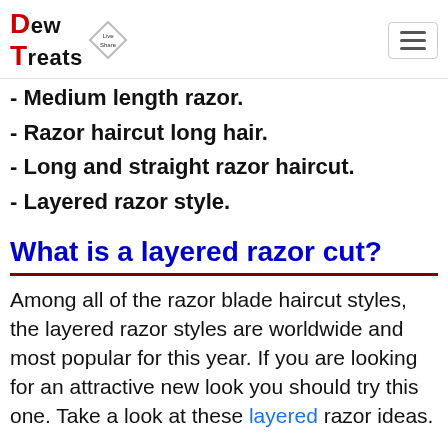Dew Treats
- Medium length razor.
- Razor haircut long hair.
- Long and straight razor haircut.
- Layered razor style.
What is a layered razor cut?
Among all of the razor blade haircut styles, the layered razor styles are worldwide and most popular for this year. If you are looking for an attractive new look you should try this one. Take a look at these layered razor ideas.